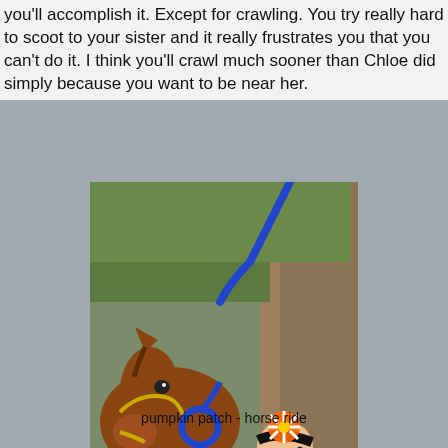you'll accomplish it. Except for crawling. You try really hard to scoot to your sister and it really frustrates you that you can't do it. I think you'll crawl much sooner than Chloe did simply because you want to be near her.
[Figure (photo): A baby dressed in an orange and black striped Halloween costume with a flower headband, sitting on a wooden fence rail next to a brown horse with a yellow and blue halter, in front of a large tree.]
pumpkin patch - horse ride